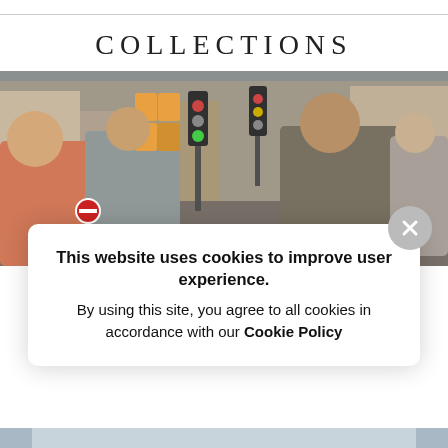COLLECTIONS
[Figure (photo): Street scene with pedestrians walking on a busy urban street with traffic lights and buildings. Text overlay reads 'CAR NOT NECESSARY']
This website uses cookies to improve user experience. By using this site, you agree to all cookies in accordance with our Cookie Policy